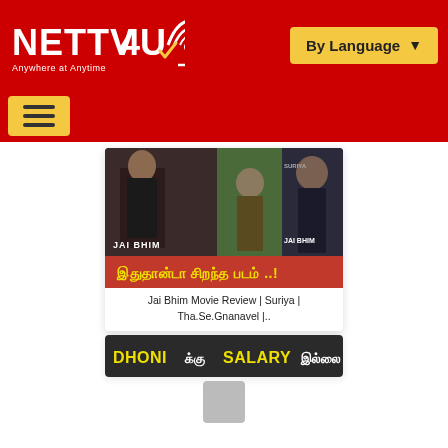[Figure (logo): NETTV4U logo with red background, white text and antenna icon, tagline 'Anywhere at Anytime']
[Figure (screenshot): By Language dropdown button in yellow/gold color]
[Figure (screenshot): Yellow hamburger menu button on red navigation bar]
[Figure (photo): Jai Bhim movie review thumbnail showing Suriya in multiple poses with Tamil text overlay 'இதுதான்டா சிறந்த படம் ..!']
Jai Bhim Movie Review | Suriya | Tha.Se.Gnanavel |..
[Figure (screenshot): Partial thumbnail showing yellow text 'DHONI க்கு SALARY இல்லை' on dark background]